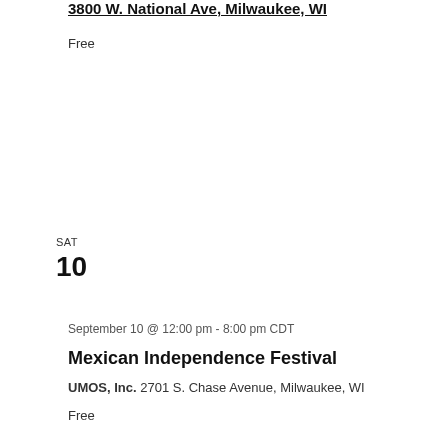3800 W. National Ave, Milwaukee, WI
Free
SAT
10
September 10 @ 12:00 pm - 8:00 pm CDT
Mexican Independence Festival
UMOS, Inc. 2701 S. Chase Avenue, Milwaukee, WI
Free